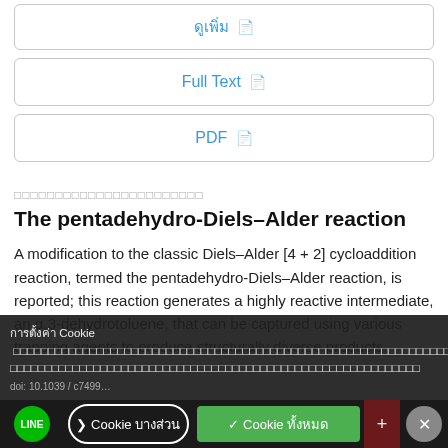ดูเพิ่ม 🗋
Full Text 🗋
PDF 🗋
□□□□□□□□□□□□□□□□□□□□□□
The pentadehydro-Diels–Alder reaction
A modification to the classic Diels–Alder [4 + 2] cycloaddition reaction, termed the pentadehydro-Diels–Alder reaction, is reported; this reaction generates a highly reactive intermediate, an α,3-dehydrotoluene, that can be captured using various trapping agents to produce structurally diverse products.
การตั้งค่า Cookie — นโยบายคุกกี้ของเรา...
❯ Cookie บางส่วน   ✓ Cookie ทั้งหมด